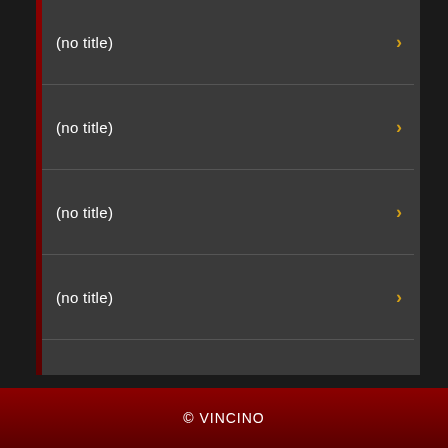(no title)
(no title)
(no title)
(no title)
(no title)
(no title)
(no title)
(no title)
(no title)
(no title)
© VINCINO